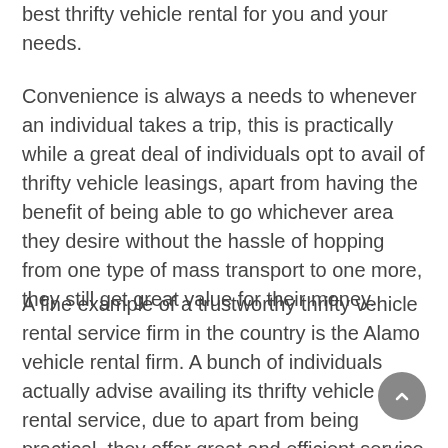best thrifty vehicle rental for you and your needs.
Convenience is always a needs to whenever an individual takes a trip, this is practically while a great deal of individuals opt to avail of thrifty vehicle leasings, apart from having the benefit of being able to go whichever area they desire without the hassle of hopping from one type of mass transport to one more, they still get great value for their money.
A fine example of a trustworthy thrifty vehicle rental service firm in the country is the Alamo vehicle rental firm. A bunch of individuals actually advise availing its thrifty vehicle rental service, due to apart from being practical, they offer great and efficient service to their customers. From supplying their customers with a variety of cars to pick from, automobiles, RVs, primarily simply whatever kind of car that you could require for you takes